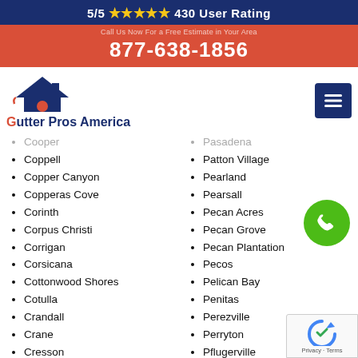5/5 ★★★★★ 430 User Rating
877-638-1856
[Figure (logo): Gutter Pros America logo with house roof icon]
Cooper
Coppell
Copper Canyon
Copperas Cove
Corinth
Corpus Christi
Corrigan
Corsicana
Cottonwood Shores
Cotulla
Crandall
Crane
Cresson
Crockett
Pasadena
Patton Village
Pearland
Pearsall
Pecan Acres
Pecan Grove
Pecan Plantation
Pecos
Pelican Bay
Penitas
Perezville
Perryton
Pflugerville
Pharr